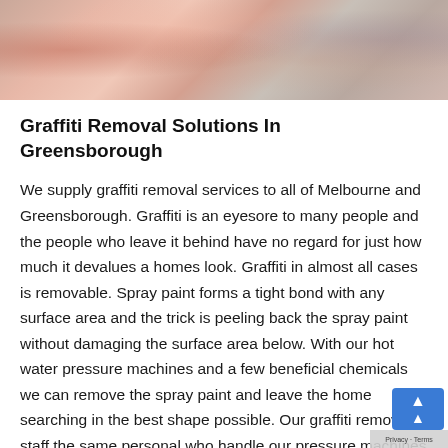[Figure (photo): Colorful graffiti artwork on a brick wall, showing painted figures in pink, red, and muted tones]
Graffiti Removal Solutions In Greensborough
We supply graffiti removal services to all of Melbourne and Greensborough. Graffiti is an eyesore to many people and the people who leave it behind have no regard for just how much it devalues a homes look. Graffiti in almost all cases is removable. Spray paint forms a tight bond with any surface area and the trick is peeling back the spray paint without damaging the surface area below. With our hot water pressure machines and a few beneficial chemicals we can remove the spray paint and leave the home searching in the best shape possible. Our graffiti removal staff the same personal who handle our pressure machines daily this means you don't have to worry